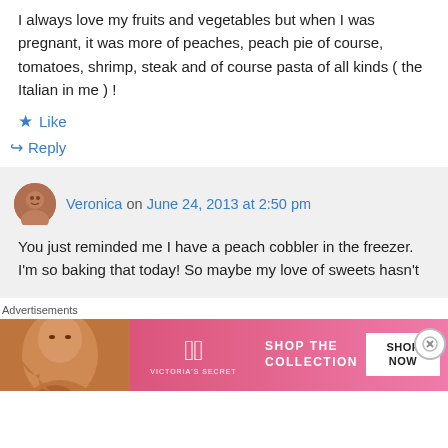I always love my fruits and vegetables but when I was pregnant, it was more of peaches, peach pie of course, tomatoes, shrimp, steak and of course pasta of all kinds ( the Italian in me ) !
★ Like
↳ Reply
Veronica on June 24, 2013 at 2:50 pm
You just reminded me I have a peach cobbler in the freezer. I'm so baking that today! So maybe my love of sweets hasn't
Advertisements
[Figure (photo): Victoria's Secret advertisement banner with a woman's photo on the left, VS logo in center, 'SHOP THE COLLECTION' text, and 'SHOP NOW' button on the right.]